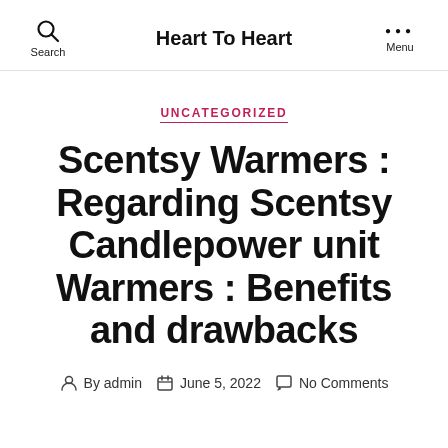Heart To Heart
UNCATEGORIZED
Scentsy Warmers : Regarding Scentsy Candlepower unit Warmers : Benefits and drawbacks
By admin  June 5, 2022  No Comments